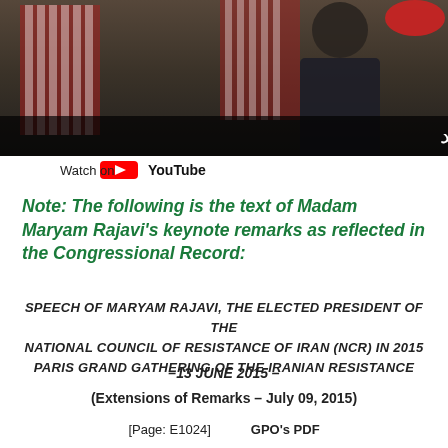[Figure (screenshot): YouTube video thumbnail showing a person in a suit in front of US flags, with Arabic/Farsi subtitle text overlay and a 'Watch on YouTube' bar at the bottom]
Note: The following is the text of Madam Maryam Rajavi's keynote remarks as reflected in the Congressional Record:
SPEECH OF MARYAM RAJAVI, THE ELECTED PRESIDENT OF THE NATIONAL COUNCIL OF RESISTANCE OF IRAN (NCR) IN 2015 PARIS GRAND GATHERING OF THE IRANIAN RESISTANCE
–13 JUNE 2015 –
(Extensions of Remarks – July 09, 2015)
[Page: E1024]     GPO's PDF